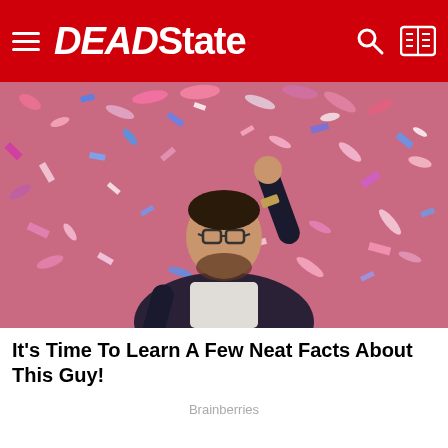DEADState
[Figure (photo): Man with glasses raising his arm in celebration, surrounded by colorful confetti in pink, red, and blue colors]
It's Time To Learn A Few Neat Facts About This Guy!
Brainberries